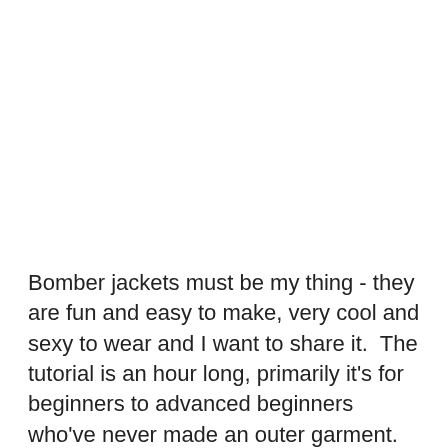Bomber jackets must be my thing - they are fun and easy to make, very cool and sexy to wear and I want to share it.  The tutorial is an hour long, primarily it's for beginners to advanced beginners who've never made an outer garment.  I'm using Simplicity Pattern 8418, an unlined